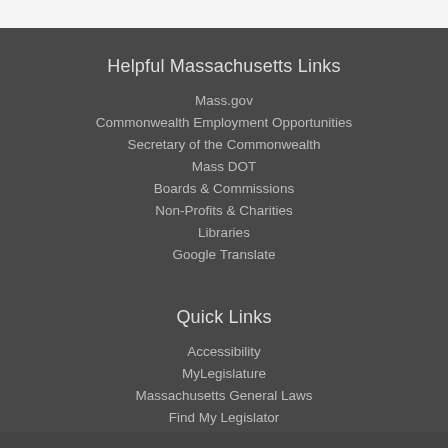Helpful Massachusetts Links
Mass.gov
Commonwealth Employment Opportunities
Secretary of the Commonwealth
Mass DOT
Boards & Commissions
Non-Profits & Charities
Libraries
Google Translate
Quick Links
Accessibility
MyLegislature
Massachusetts General Laws
Find My Legislator